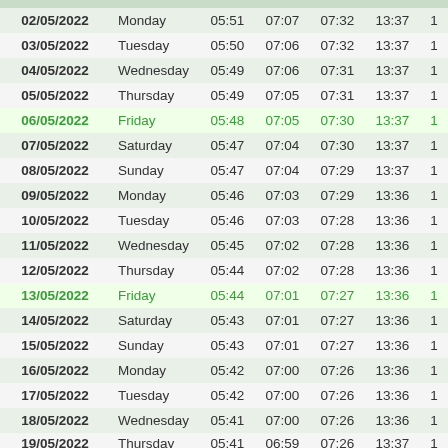| Date | Day | Col3 | Col4 | Col5 | Col6 | Col7 |
| --- | --- | --- | --- | --- | --- | --- |
| 02/05/2022 | Monday | 05:51 | 07:07 | 07:32 | 13:37 | 1 |
| 03/05/2022 | Tuesday | 05:50 | 07:06 | 07:32 | 13:37 | 1 |
| 04/05/2022 | Wednesday | 05:49 | 07:06 | 07:31 | 13:37 | 1 |
| 05/05/2022 | Thursday | 05:49 | 07:05 | 07:31 | 13:37 | 1 |
| 06/05/2022 | Friday | 05:48 | 07:05 | 07:30 | 13:37 | 1 |
| 07/05/2022 | Saturday | 05:47 | 07:04 | 07:30 | 13:37 | 1 |
| 08/05/2022 | Sunday | 05:47 | 07:04 | 07:29 | 13:37 | 1 |
| 09/05/2022 | Monday | 05:46 | 07:03 | 07:29 | 13:36 | 1 |
| 10/05/2022 | Tuesday | 05:46 | 07:03 | 07:28 | 13:36 | 1 |
| 11/05/2022 | Wednesday | 05:45 | 07:02 | 07:28 | 13:36 | 1 |
| 12/05/2022 | Thursday | 05:44 | 07:02 | 07:28 | 13:36 | 1 |
| 13/05/2022 | Friday | 05:44 | 07:01 | 07:27 | 13:36 | 1 |
| 14/05/2022 | Saturday | 05:43 | 07:01 | 07:27 | 13:36 | 1 |
| 15/05/2022 | Sunday | 05:43 | 07:01 | 07:27 | 13:36 | 1 |
| 16/05/2022 | Monday | 05:42 | 07:00 | 07:26 | 13:36 | 1 |
| 17/05/2022 | Tuesday | 05:42 | 07:00 | 07:26 | 13:36 | 1 |
| 18/05/2022 | Wednesday | 05:41 | 07:00 | 07:26 | 13:36 | 1 |
| 19/05/2022 | Thursday | 05:41 | 06:59 | 07:26 | 13:37 | 1 |